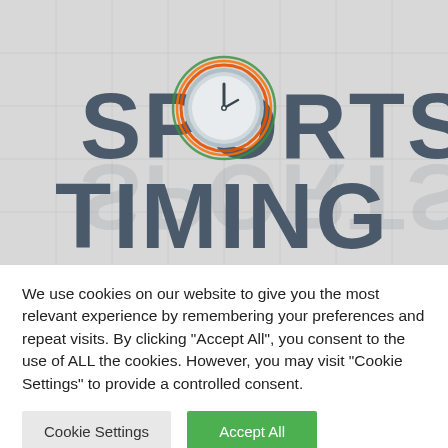[Figure (photo): Sports Timing logo sign on a light grey tiled wall. The logo shows large 3D letters spelling 'SPORTS TIMING' in dark slate blue/grey, with the letter O replaced by a stopwatch/clock graphic with coloured rings (orange, red, green) around it.]
We use cookies on our website to give you the most relevant experience by remembering your preferences and repeat visits. By clicking "Accept All", you consent to the use of ALL the cookies. However, you may visit "Cookie Settings" to provide a controlled consent.
Cookie Settings
Accept All